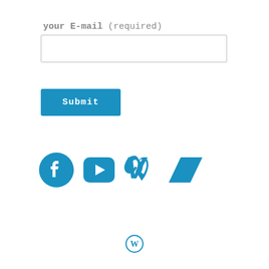your E-mail (required)
[Figure (screenshot): Email input text field, empty, with light gray border]
[Figure (screenshot): Submit button in teal/blue color with white monospace text]
[Figure (infographic): Social media icons: Facebook, YouTube, Vimeo, and Bandcamp in teal/blue color]
[Figure (logo): WordPress logo (W in circle) in teal/blue color at bottom center]